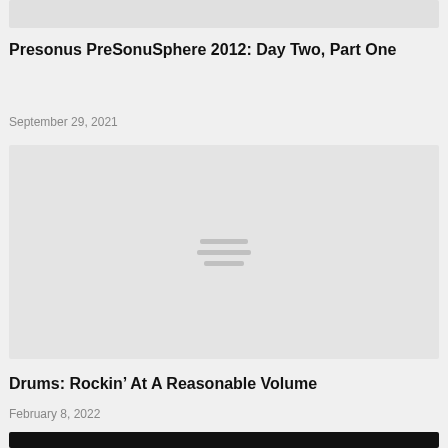[Figure (photo): Top partial image strip, gray placeholder]
Presonus PreSonuSphere 2012: Day Two, Part One
September 29, 2021
[Figure (photo): Gray placeholder image with hamburger menu icon in center]
Drums: Rockin’ At A Reasonable Volume
February 8, 2022
[Figure (photo): Bottom partial image strip, black]